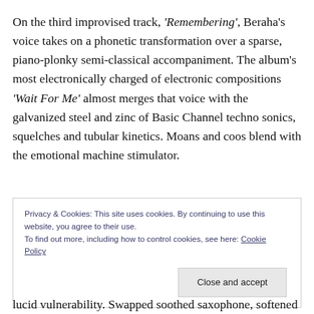On the third improvised track, 'Remembering', Beraha's voice takes on a phonetic transformation over a sparse, piano-plonky semi-classical accompaniment. The album's most electronically charged of electronic compositions 'Wait For Me' almost merges that voice with the galvanized steel and zinc of Basic Channel techno sonics, squelches and tubular kinetics. Moans and coos blend with the emotional machine stimulator.
Privacy & Cookies: This site uses cookies. By continuing to use this website, you agree to their use.
To find out more, including how to control cookies, see here: Cookie Policy
lucid vulnerability. Swapped soothed saxophone, softened